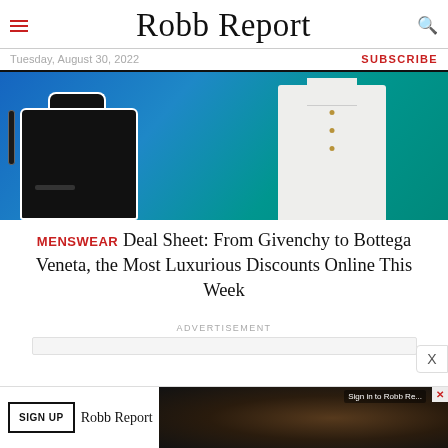Robb Report
Tuesday, August 30, 2022
SUBSCRIBE
[Figure (photo): Hero image showing a black leather crossbody bag on a blue-teal gradient background and a white linen shirt on a teal background]
MENSWEAR Deal Sheet: From Givenchy to Bottega Veneta, the Most Luxurious Discounts Online This Week
ADVERTISEMENT
[Figure (other): Gray advertisement placeholder bar]
[Figure (other): Bottom banner advertisement with SIGN UP button, Robb Report logo, and food photography image with X close button and Sign in to Robb Report overlay]